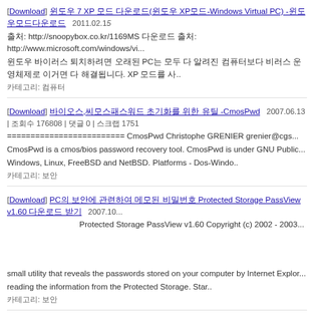[Download] 윈도우 7 XP 모드 다운로드(윈도우 XP모드-Windows Virtual PC) -윈도우모드다운로드  2011.02.15
출처: http://snoopybox.co.kr/1169MS 다운로드 출처: http://www.microsoft.com/windows/vi...
윈도우 바이러스 퇴치하려면 오래된 PC는 모두 다 알려진 컴퓨터보다 비러스 운영체제로 이거면 다 해결됩니다. XP 모드를 사.. 
카테고리: 컴퓨터
[Download] 바이오스,씨모스패스워드 초기화를 위한 유틸 -CmosPwd  2007.06.13 | 조회수 176808 | 댓글 0 | 스크랩 1751
========================= CmosPwd Christophe GRENIER grenier@cgs...
CmosPwd is a cmos/bios password recovery tool. CmosPwd is under GNU Public...
Windows, Linux, FreeBSD and NetBSD. Platforms - Dos-Windo..
카테고리: 보안
[Download] PC의 보안에 관련하여 메모된 비밀번호 Protected Storage PassView v1.60 다운로드 받기  2007.10...
                   Protected Storage PassView v1.60 Copyright (c) 2002 - 2003...
small utility that reveals the passwords stored on your computer by Internet Explor...
reading the information from the Protected Storage. Star..
카테고리: 보안
[Download] IEFix 1.6v 인터넷익스 수정(복구)하여 인터넷익스 동작에  2007.06.30 | 조회수 168632 | 댓글 3 | 스크랩...
인터넷을 위한 모든 시작 버튼을 누르시면 복구됩니다. 인터넷익스 7.0이 아니더라도 작동합니다. 아울러 exploer 실행에서...